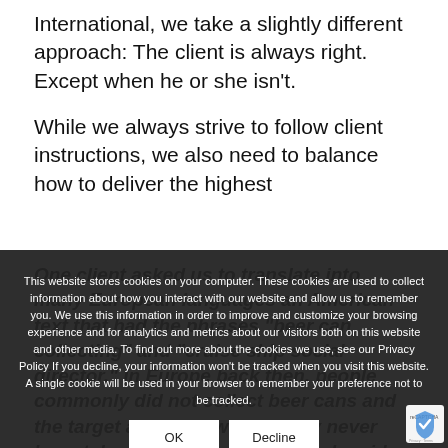International, we take a slightly different approach: The client is always right. Except when he or she isn't.
While we always strive to follow client instructions, we also need to balance how to deliver the highest
One client asked us to translate into many European languages an American text that had the phrases “beer can collecting” and “cruise ship social director.” In Europe back then, people commonly did not collect beer cans and the target audience would likely never have taken a cruise and have had no idea what a social director is. We therefore suggest alternatives, turning entirely different concepts to yield the desired result.
This website stores cookies on your computer. These cookies are used to collect information about how you interact with our website and allow us to remember you. We use this information in order to improve and customize your browsing experience and for analytics and metrics about our visitors both on this website and other media. To find out more about the cookies we use, see our Privacy Policy If you decline, your information won’t be tracked when you visit this website. A single cookie will be used in your browser to remember your preference not to be tracked.